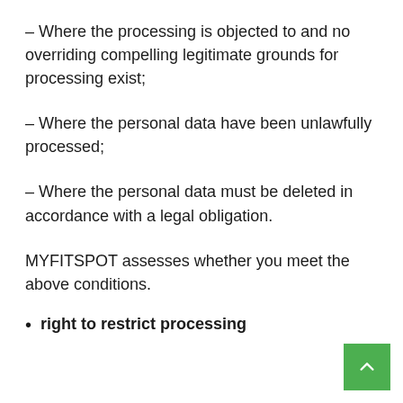– Where the processing is objected to and no overriding compelling legitimate grounds for processing exist;
– Where the personal data have been unlawfully processed;
– Where the personal data must be deleted in accordance with a legal obligation.
MYFITSPOT assesses whether you meet the above conditions.
right to restrict processing